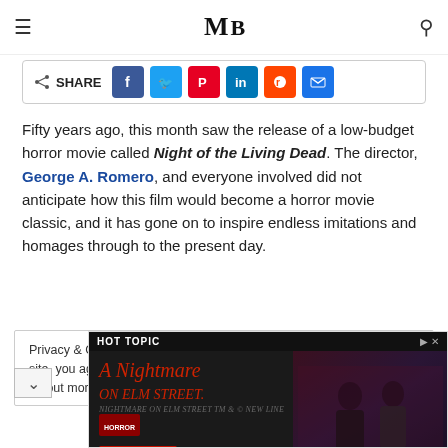MB (Movie Blog logo navigation bar)
[Figure (infographic): Social share bar with SHARE label and buttons for Facebook, Twitter, Pinterest, LinkedIn, Reddit, and Email]
Fifty years ago, this month saw the release of a low-budget horror movie called Night of the Living Dead. The director, George A. Romero, and everyone involved did not anticipate how this film would become a horror movie classic, and it has gone on to inspire endless imitations and homages through to the present day.
Privacy & Cookies: This site uses cookies. By continuing to use this site, you agree to their use. Find out more, including how to control cookies, see here: Cookie
[Figure (infographic): Hot Topic advertisement for A Nightmare on Elm Street merchandise with Shop Now button and photo of two people in horror merchandise]